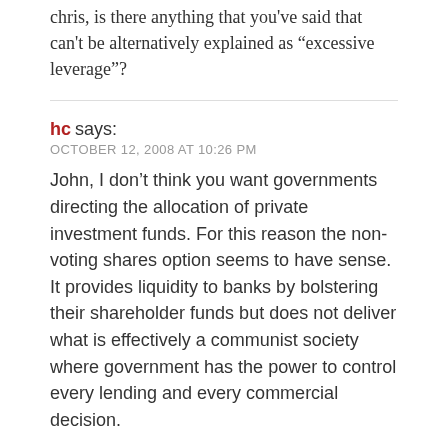chris, is there anything that you've said that can't be alternatively explained as “excessive leverage”?
hc says:
OCTOBER 12, 2008 AT 10:26 PM
John, I don’t think you want governments directing the allocation of private investment funds. For this reason the non-voting shares option seems to have sense. It provides liquidity to banks by bolstering their shareholder funds but does not deliver what is effectively a communist society where government has the power to control every lending and every commercial decision.
If the government does buy substantial voting